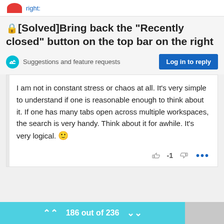right:
🔒[Solved]Bring back the "Recently closed" button on the top bar on the right
Suggestions and feature requests
Log in to reply
I am not in constant stress or chaos at all. It's very simple to understand if one is reasonable enough to think about it. If one has many tabs open across multiple workspaces, the search is very handy. Think about it for awhile. It's very logical. 🙂
186 out of 236